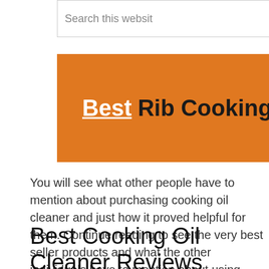Search this website
[Figure (other): Orange navigation banner with text 'Best Rib Cooking Rack' and a right-arrow chevron button on the right side]
You will see what other people have to mention about purchasing cooking oil cleaner and just how it proved helpful for them. Continue reading to see the very best seller products and what the other individuals have to mention about using them.
Best Cooking Oil Cleaner Reviews